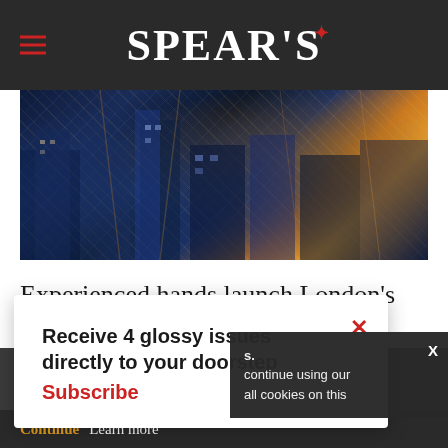SPEAR'S
[Figure (photo): Aerial night view of London city buildings and streets with blue tones and orange street lights]
Experienced hands launch London's newest private office
Receive 4 glossy issues directly to your doorstep
Subscribe
continue using our all cookies on this
Continue   Learn more